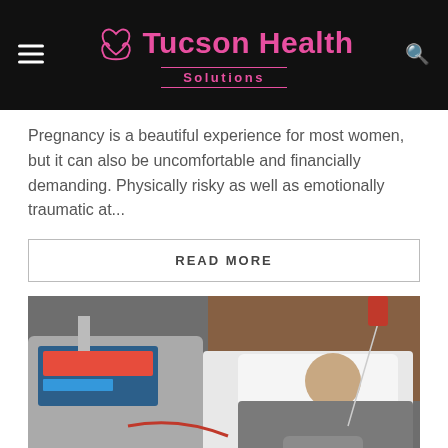Tucson Health Solutions
Pregnancy is a beautiful experience for most women, but it can also be uncomfortable and financially demanding. Physically risky as well as emotionally traumatic at...
READ MORE
[Figure (photo): A man lying in a hospital bed connected to a medical device (appears to be dialysis or apheresis machine) with IV lines attached to his arm. A monitor and medical equipment are visible beside him.]
HEALTH